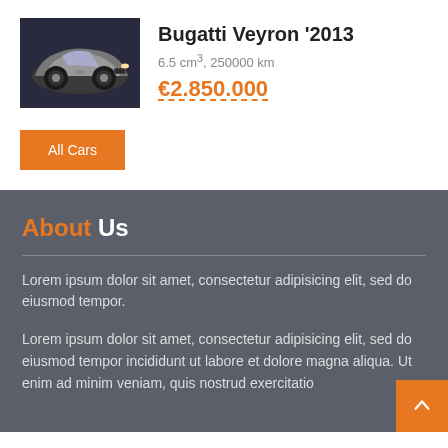[Figure (photo): Photo of a Bugatti Veyron car, front view, silver/dark colors]
Bugatti Veyron '2013
6.5 cm³, 250000 km
€2.850.000
All Cars
About Us
Lorem ipsum dolor sit amet, consectetur adipisicing elit, sed do eiusmod tempor.
Lorem ipsum dolor sit amet, consectetur adipisicing elit, sed do eiusmod tempor incididunt ut labore et dolore magna aliqua. Ut enim ad minim veniam, quis nostrud exercitatio